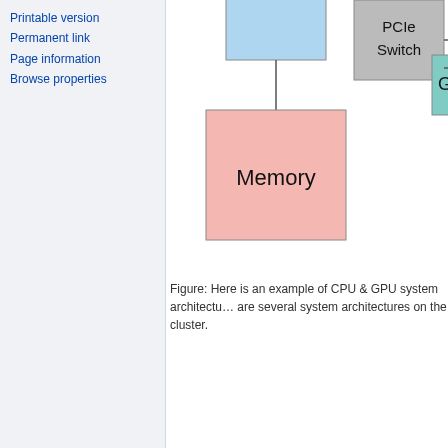Printable version
Permanent link
Page information
Browse properties
[Figure (schematic): Partial diagram of CPU & GPU system architecture showing a blue box (partially visible at top), connected by a line to a pink Memory box, and a gray PCIe Switch box connected to a teal/cyan box (partially visible on right edge).]
Figure: Here is an example of CPU & GPU system architectu… are several system architectures on the cluster.